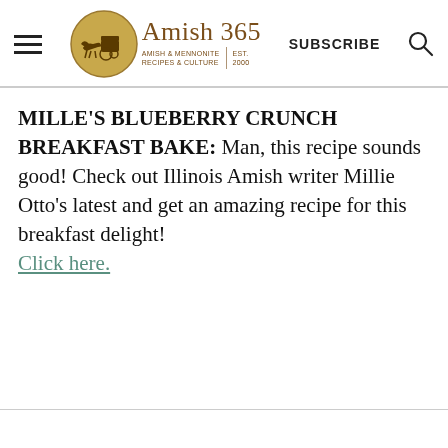Amish 365 | AMISH & MENNONITE RECIPES & CULTURE | EST. 2000 | SUBSCRIBE
MILLE'S BLUEBERRY CRUNCH BREAKFAST BAKE: Man, this recipe sounds good! Check out Illinois Amish writer Millie Otto's latest and get an amazing recipe for this breakfast delight! Click here.